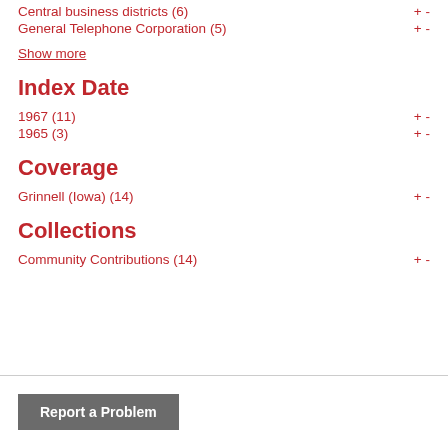Central business districts (6)
General Telephone Corporation (5)
Show more
Index Date
1967 (11)
1965 (3)
Coverage
Grinnell (Iowa) (14)
Collections
Community Contributions (14)
Report a Problem